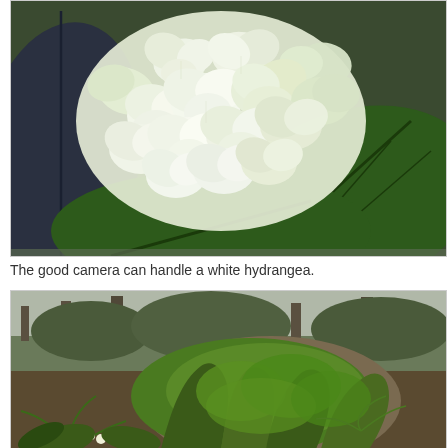[Figure (photo): Close-up photograph of a white hydrangea flower cluster with large green leaves in the background, slight bluish-grey leaf visible on the left.]
The good camera can handle a white hydrangea.
[Figure (photo): Photograph of a large moss-covered tree trunk base in a woodland setting, with ferns and small white flowers (primroses) growing around it, overcast sky and bare trees in the background.]